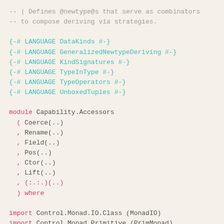-- | Defines @newtype@s that serve as combinators
-- to compose deriving via strategies.

{-# LANGUAGE DataKinds #-}
{-# LANGUAGE GeneralizedNewtypeDeriving #-}
{-# LANGUAGE KindSignatures #-}
{-# LANGUAGE TypeInType #-}
{-# LANGUAGE TypeOperators #-}
{-# LANGUAGE UnboxedTuples #-}

module Capability.Accessors
  ( Coerce(..)
  , Rename(..)
  , Field(..)
  , Pos(..)
  , Ctor(..)
  , Lift(..)
  , (:.:.)(..)
  ) where

import Control.Monad.IO.Class (MonadIO)
import Control.Monad.Primitive (PrimMonad)
import Data.Kind (Type)
import GHC.TypeLits (Nat, Symbol)

-- | Coerce the type in the context @m@ to @to@.
--
-- Example:
--